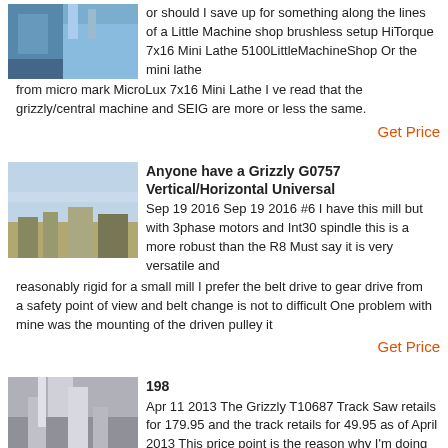or should I save up for something along the lines of a Little Machine shop brushless setup HiTorque 7x16 Mini Lathe 5100LittleMachineShop Or the mini lathe from micro mark MicroLux 7x16 Mini Lathe I ve read that the grizzly/central machine and SEIG are more or less the same.
Get Price
[Figure (photo): Outdoor construction/excavation site with machinery]
Anyone have a Grizzly G0757 Vertical/Horizontal Universal
Sep 19 2016  Sep 19 2016 #6 I have this mill but with 3phase motors and Int30 spindle this is a more robust than the R8 Must say it is very versatile and reasonably rigid for a small mill I prefer the belt drive to gear drive from a safety point of view and belt change is not to difficult One problem with mine was the mounting of the driven pulley it
Get Price
[Figure (photo): Industrial equipment - large cylindrical machinery or silos]
198
Apr 11 2013  The Grizzly T10687 Track Saw retails for 179.95 and the track retails for 49.95 as of April 2013  This price point is the reason why I'm doing this review  At this stage of the game a new track saw hitting the